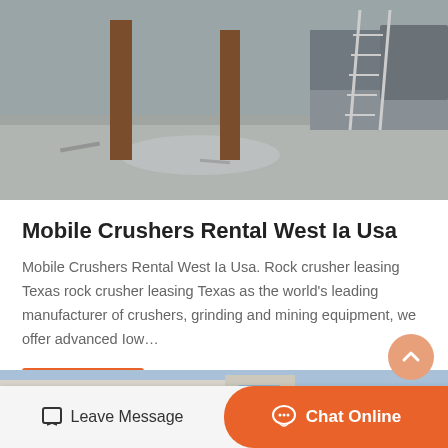[Figure (photo): Construction site photo showing concrete slab, wooden posts, a ladder, and a large truck in background]
Mobile Crushers Rental West Ia Usa
Mobile Crushers Rental West Ia Usa. Rock crusher leasing Texas rock crusher leasing Texas as the world's leading manufacturer of crushers, grinding and mining equipment, we offer advanced Iow…
Get Price
[Figure (photo): Modern building with glass facade and concrete structure, exterior view]
Leave Message
Chat Online